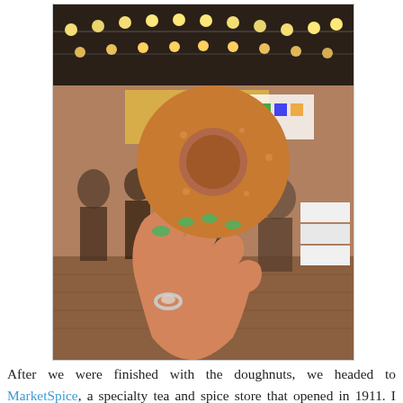[Figure (photo): A hand with green-painted nails holds up a golden-brown donut inside a busy indoor market (Pike Place Market). String lights hang from the ceiling. People browse stalls in the background; colorful signage is visible. A silver ring is on one finger.]
After we were finished with the doughnuts, we headed to MarketSpice, a specialty tea and spice store that opened in 1911. I instantly fell in love with the charm of this store. I am a spice addict and my cabinet is out of control. A little overwhelming for someone like me, I couldn't decide what to